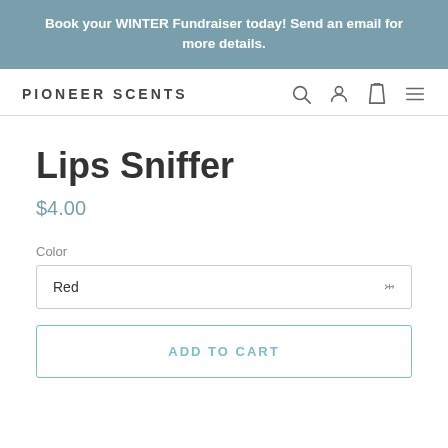Book your WINTER Fundraiser today! Send an email for more details.
PIONEER SCENTS
Lips Sniffer
$4.00
Color
Red
ADD TO CART